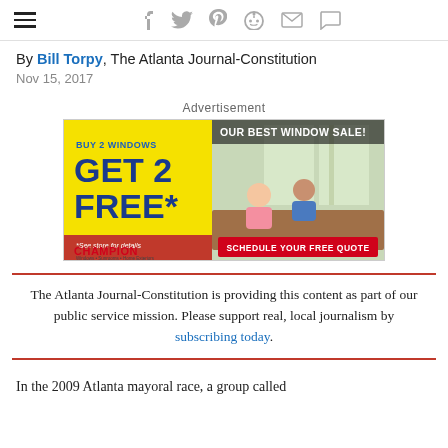hamburger menu and social icons: f, twitter, pinterest, reddit, email, comment
By Bill Torpy, The Atlanta Journal-Constitution
Nov 15, 2017
Advertisement
[Figure (other): Champion Windows advertisement: Buy 2 Windows GET 2 FREE* - Our Best Window Sale! Schedule Your Free Quote. Yellow left panel with blue text and red triangle banner. Right side shows couple at dining table near windows.]
The Atlanta Journal-Constitution is providing this content as part of our public service mission. Please support real, local journalism by subscribing today.
In the 2009 Atlanta mayoral race, a group called